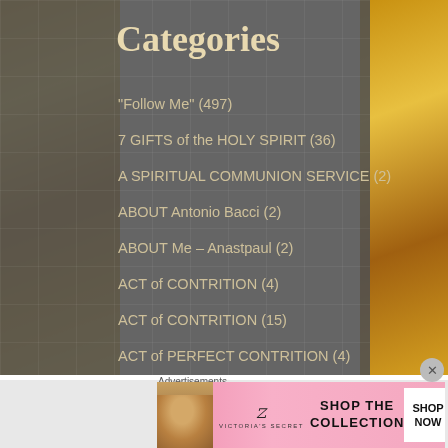Categories
"Follow Me" (497)
7 GIFTS of the HOLY SPIRIT (36)
A SPIRITUAL COMMUNION SERVICE (2)
ABOUT Antonio Bacci (2)
ABOUT Me – Anastpaul (2)
ACT of CONTRITION (4)
ACT of CONTRITION (15)
ACT of PERFECT CONTRITION (4)
Advertisements
[Figure (photo): Victoria's Secret advertisement banner with a model, VS logo, 'Shop the Collection' text, and 'Shop Now' button]